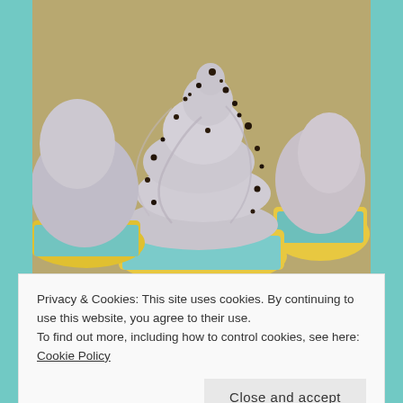[Figure (photo): Close-up photo of cupcakes with swirled gray/white frosting topped with dark chocolate cookie crumbles, on yellow cupcake bases with blue/green wrappers]
Privacy & Cookies: This site uses cookies. By continuing to use this website, you agree to their use.
To find out more, including how to control cookies, see here: Cookie Policy
Close and accept